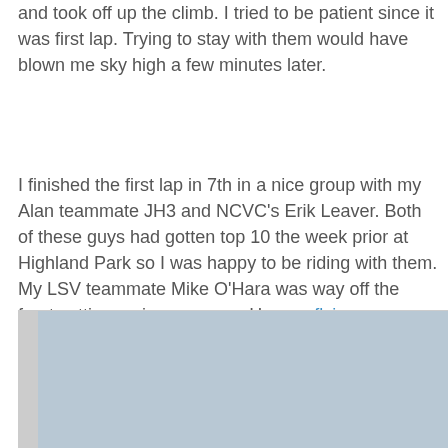and took off up the climb. I tried to be patient since it was first lap. Trying to stay with them would have blown me sky high a few minutes later.
I finished the first lap in 7th in a nice group with my Alan teammate JH3 and NCVC's Erik Leaver. Both of these guys had gotten top 10 the week prior at Highland Park so I was happy to be riding with them. My LSV teammate Mike O'Hara was way off the front setting an insane pace. He was flying.
[Figure (photo): Cyclists riding up a grassy hill during a cyclocross race. The foreground rider wears a yellow and black jersey with a black helmet and glasses. Two riders in blue jerseys follow behind, with a third rider further back. Bare trees and red course tape visible in the background.]